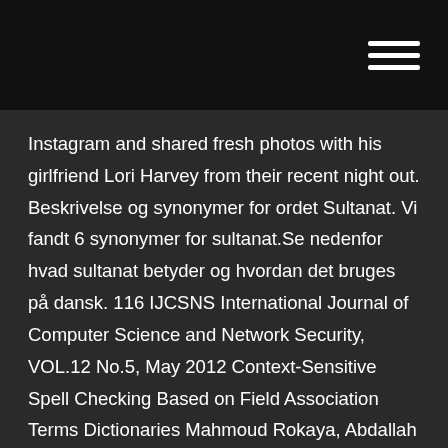Instagram and shared fresh photos with his girlfriend Lori Harvey from their recent night out. Beskrivelse og synonymer for ordet Sultanat. Vi fandt 6 synonymer for sultanat.Se nedenfor hvad sultanat betyder og hvordan det bruges på dansk. 116 IJCSNS International Journal of Computer Science and Network Security, VOL.12 No.5, May 2012 Context-Sensitive Spell Checking Based on Field Association Terms Dictionaries Mahmoud Rokaya, Abdallah Nahla and Sultan Aljahdali College of Computer and Information Technology, Taif University, Saudi Arabia wrong function word (e.g., for + of, his ~ her); others are Summary semantic anomalies (e Hämta din gratisbelöning till Legend Online idag! Med presentkoden kan du hämta en schyst belöning inne i spelet, helt gratis! Those who visit police